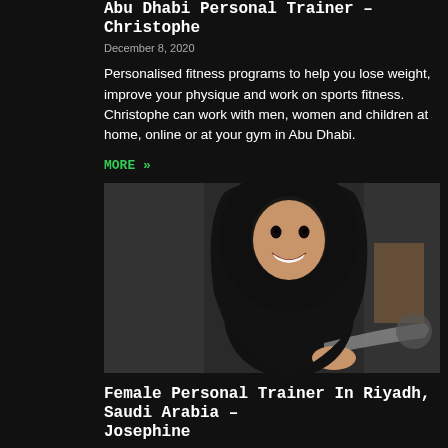Abu Dhabi Personal Trainer – Christophe
December 8, 2020
Personalised fitness programs to help you lose weight, improve your physique and work on sports fitness. Christophe can work with men, women and children at home, online or at your gym in Abu Dhabi.
MORE »
[Figure (photo): A smiling woman wearing a black hijab in a gym setting, holding exercise equipment]
Female Personal Trainer In Riyadh, Saudi Arabia – Josephine
December 3, 2020
Josephine is a female personal trainer in Riyadh, Saudi Arabia